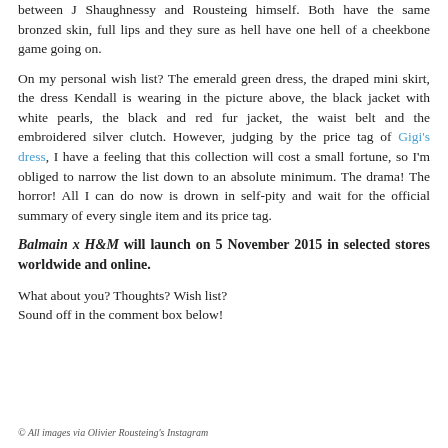between J Shaughnessy and Rousteing himself. Both have the same bronzed skin, full lips and they sure as hell have one hell of a cheekbone game going on.
On my personal wish list? The emerald green dress, the draped mini skirt, the dress Kendall is wearing in the picture above, the black jacket with white pearls, the black and red fur jacket, the waist belt and the embroidered silver clutch. However, judging by the price tag of Gigi's dress, I have a feeling that this collection will cost a small fortune, so I'm obliged to narrow the list down to an absolute minimum. The drama! The horror! All I can do now is drown in self-pity and wait for the official summary of every single item and its price tag.
Balmain x H&M will launch on 5 November 2015 in selected stores worldwide and online.
What about you? Thoughts? Wish list?
Sound off in the comment box below!
© All images via Olivier Rousteing's Instagram